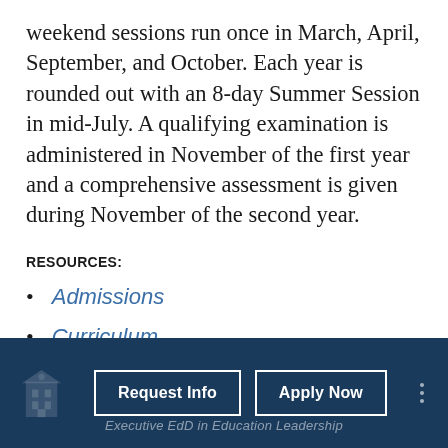weekend sessions run once in March, April, September, and October. Each year is rounded out with an 8-day Summer Session in mid-July. A qualifying examination is administered in November of the first year and a comprehensive assessment is given during November of the second year.
RESOURCES:
Admissions
Curriculum
Request Info | Apply Now | Executive EdD in Education Leadership